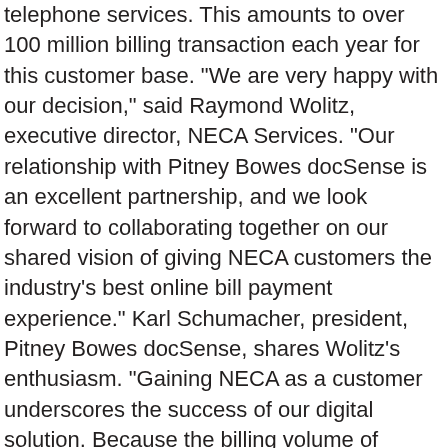telephone services. This amounts to over 100 million billing transaction each year for this customer base. "We are very happy with our decision," said Raymond Wolitz, executive director, NECA Services. "Our relationship with Pitney Bowes docSense is an excellent partnership, and we look forward to collaborating together on our shared vision of giving NECA customers the industry's best online bill payment experience." Karl Schumacher, president, Pitney Bowes docSense, shares Wolitz's enthusiasm. "Gaining NECA as a customer underscores the success of our digital solution. Because the billing volume of NECA exchange carriers ranges in size from hundreds to millions of records per month, scalability and flexibility were major factors in their choice of D3. Receiving this commitment validates the strength of our electronic bill presentment and payment solution." "In keeping with NECA's business practice, we performed exhaustive due diligence on